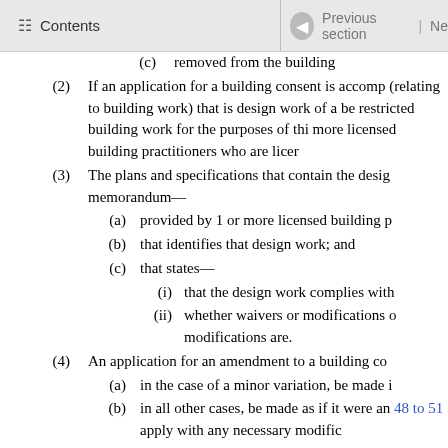Contents | Previous section | Ne
(c) removed from the building
(2) If an application for a building consent is accomp (relating to building work) that is design work of a be restricted building work for the purposes of thi more licensed building practitioners who are licer
(3) The plans and specifications that contain the desig memorandum—
(a) provided by 1 or more licensed building p
(b) that identifies that design work; and
(c) that states—
(i) that the design work complies with
(ii) whether waivers or modifications o modifications are.
(4) An application for an amendment to a building co
(a) in the case of a minor variation, be made i
(b) in all other cases, be made as if it were an 48 to 51 apply with any necessary modific
(5) The application must be accompanied by a statuto —
(a) if the building work includes restricted bu
(b) if any accompanying plans or specificatio